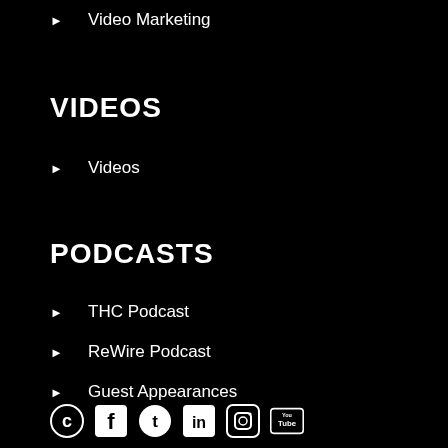Video Marketing
VIDEOS
Videos
PODCASTS
THC Podcast
ReWire Podcast
Guest Appearances
[Figure (illustration): Social media icons: Stitcher/Podcast, Facebook, Twitter, LinkedIn, Instagram, YouTube]